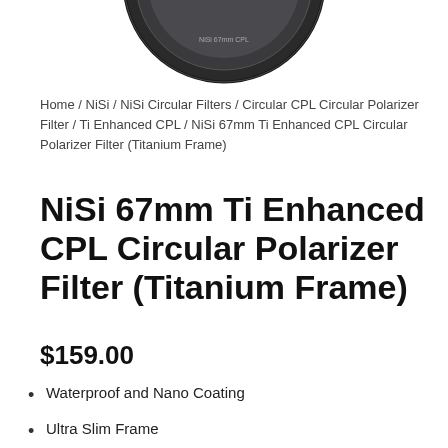[Figure (photo): Partial view of a circular camera filter (CPL) with dark frame, shown from above, cropped at top of page.]
Home / NiSi / NiSi Circular Filters / Circular CPL Circular Polarizer Filter / Ti Enhanced CPL / NiSi 67mm Ti Enhanced CPL Circular Polarizer Filter (Titanium Frame)
NiSi 67mm Ti Enhanced CPL Circular Polarizer Filter (Titanium Frame)
$159.00
Waterproof and Nano Coating
Ultra Slim Frame
Eliminates Reflections and Glare
Greater Color and Tonal Saturation reduces Haze in